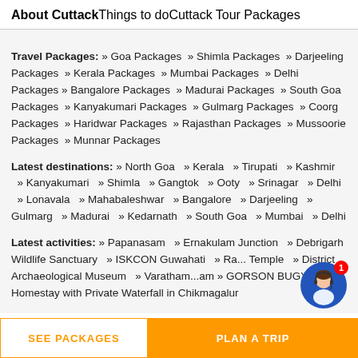About Cuttack   Things to do   Cuttack Tour Packages
Travel Packages: » Goa Packages » Shimla Packages » Darjeeling Packages » Kerala Packages » Mumbai Packages » Delhi Packages » Bangalore Packages » Madurai Packages » South Goa Packages » Kanyakumari Packages » Gulmarg Packages » Coorg Packages » Haridwar Packages » Rajasthan Packages » Mussoorie Packages » Munnar Packages
Latest destinations: » North Goa » Kerala » Tirupati » Kashmir » Kanyakumari » Shimla » Gangtok » Ooty » Srinagar » Delhi » Lonavala » Mahabaleshwar » Bangalore » Darjeeling » Gulmarg » Madurai » Kedarnath » South Goa » Mumbai » Delhi
Latest activities: » Papanasam » Ernakulam Junction » Debrigarh Wildlife Sanctuary » ISKCON Guwahati » Ra... Temple » District Archaeological Museum » Varatham...am » GORSON BUGYAL » Homestay with Private Waterfall in Chikmagalur